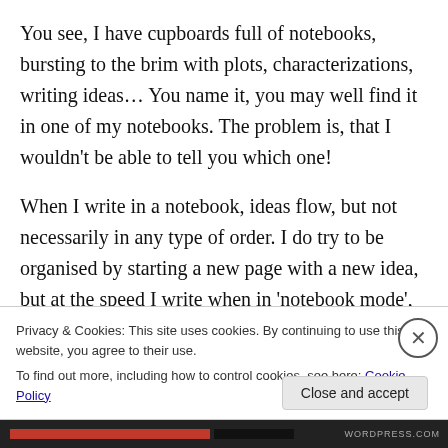You see, I have cupboards full of notebooks, bursting to the brim with plots, characterizations, writing ideas… You name it, you may well find it in one of my notebooks. The problem is, that I wouldn't be able to tell you which one!
When I write in a notebook, ideas flow, but not necessarily in any type of order. I do try to be organised by starting a new page with a new idea, but at the speed I write when in 'notebook mode', by the end of a brainstorming session I could have spread those disparate ideas across a number
Privacy & Cookies: This site uses cookies. By continuing to use this website, you agree to their use.
To find out more, including how to control cookies, see here: Cookie Policy
Close and accept